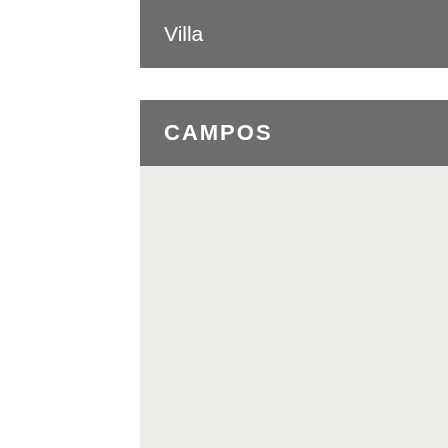Villa   1 700 000 €
CAMPOS
[Figure (photo): Property listing card for CAMPOS with no photo placeholder (camera icon) and a red 'Sold' diagonal ribbon banner]
CS-0209   73 m²   2 bedrooms   2 bathrooms
Apartments   202 000 €